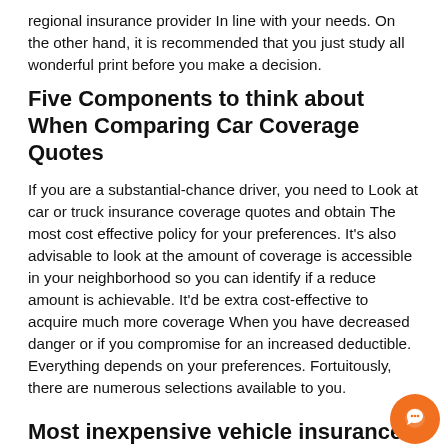regional insurance provider In line with your needs. On the other hand, it is recommended that you just study all wonderful print before you make a decision.
Five Components to think about When Comparing Car Coverage Quotes
If you are a substantial-chance driver, you need to Look at car or truck insurance coverage quotes and obtain The most cost effective policy for your preferences. It’s also advisable to look at the amount of coverage is accessible in your neighborhood so you can identify if a reduce amount is achievable. It’d be extra cost-effective to acquire much more coverage When you have decreased danger or if you compromise for an increased deductible. Everything depends on your preferences. Fortuitously, there are numerous selections available to you.
Most inexpensive vehicle insurance f